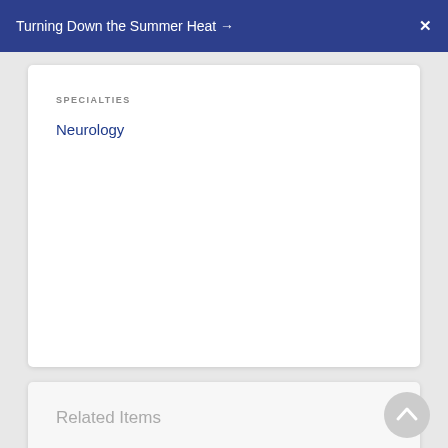Turning Down the Summer Heat →   X
SPECIALTIES
Neurology
Related Items
DISEASES AND CONDITIONS
Absence Seizures
Anatomy of the Brain
Brachial Neuritis
Brachial Plexus Injuries
View All 23